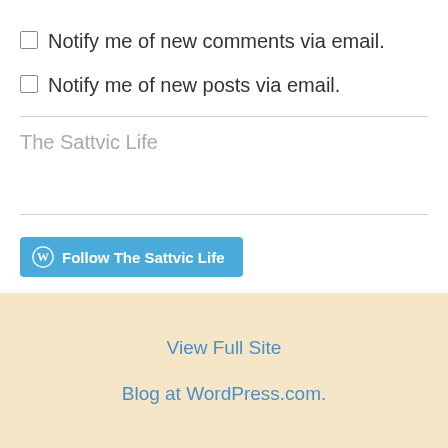Notify me of new comments via email.
Notify me of new posts via email.
The Sattvic Life
[Figure (other): Follow The Sattvic Life button with WordPress icon]
View Full Site
Blog at WordPress.com.